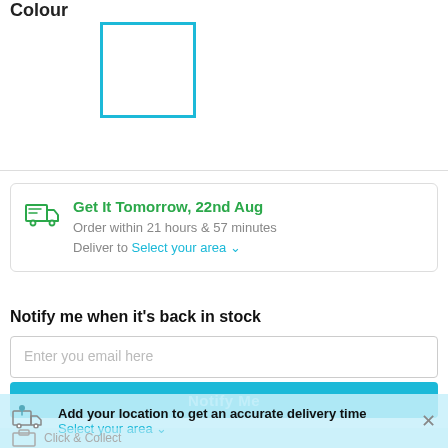Colour
[Figure (other): White colour swatch with cyan/blue border, selected state]
Get It Tomorrow, 22nd Aug
Order within 21 hours & 57 minutes
Deliver to Select your area
Notify me when it's back in stock
Enter you email here
Notify Me
Add your location to get an accurate delivery time
Select your area
Click & Collect